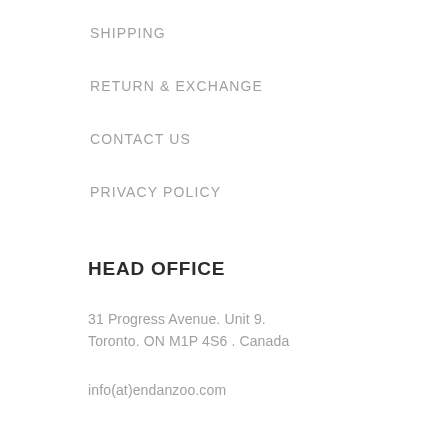SHIPPING
RETURN & EXCHANGE
CONTACT US
PRIVACY POLICY
HEAD OFFICE
31 Progress Avenue. Unit 9.
Toronto. ON M1P 4S6 . Canada
info(at)endanzoo.com